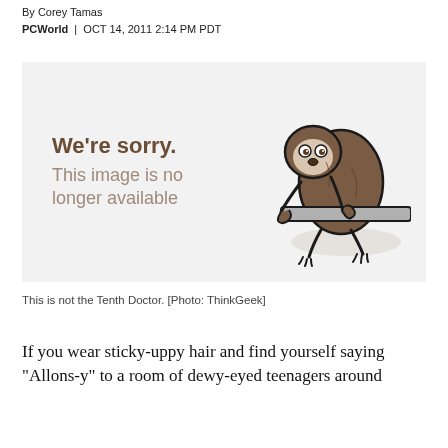By Corey Tamas
PCWorld | OCT 14, 2011 2:14 PM PDT
[Figure (illustration): Image placeholder showing a cartoon sloth hanging on a bar, with text 'We're sorry. This image is no longer available']
This is not the Tenth Doctor. [Photo: ThinkGeek]
If you wear sticky-uppy hair and find yourself saying "Allons-y" to a room of dewy-eyed teenagers around...